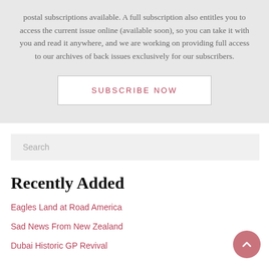postal subscriptions available. A full subscription also entitles you to access the current issue online (available soon), so you can take it with you and read it anywhere, and we are working on providing full access to our archives of back issues exclusively for our subscribers.
SUBSCRIBE NOW
Search
Recently Added
Eagles Land at Road America
Sad News From New Zealand
Dubai Historic GP Revival